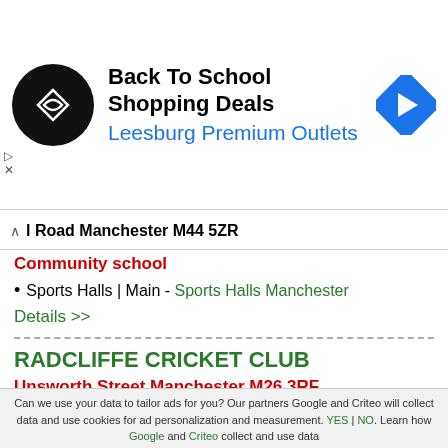[Figure (infographic): Advertisement banner: Back To School Shopping Deals at Leesburg Premium Outlets. Black circular logo with arrow symbol on left, blue navigation arrow icon on right.]
l Road Manchester M44 5ZR
Community school
Sports Halls | Main - Sports Halls Manchester
Details >>
RADCLIFFE CRICKET CLUB
Unsworth Street Manchester M26 3RF
Sports Club
Grass Pitches | Cricket - Grass Pitches Manchester
Grass Pitches | Rounders - Grass Pitches Manchester
Can we use your data to tailor ads for you? Our partners Google and Criteo will collect data and use cookies for ad personalization and measurement. YES | NO. Learn how Google and Criteo collect and use data